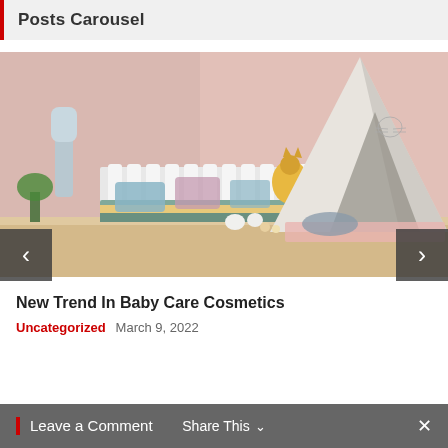Posts Carousel
[Figure (photo): A cozy children's room with a pink wall, a white picket fence headboard with colorful pillows and a yellow squirrel toy, and a white teepee tent with cat face design on the right side. Light wooden floor visible.]
New Trend In Baby Care Cosmetics
Uncategorized   March 9, 2022
Leave a Comment   Share This   ×